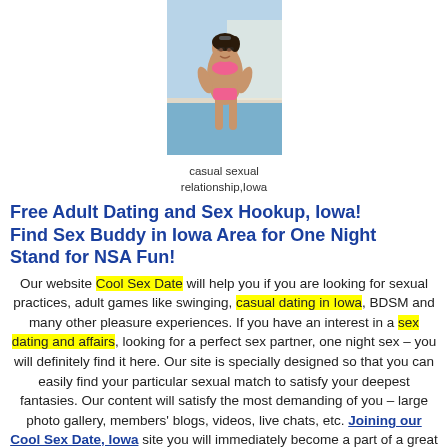[Figure (photo): Woman in pink bikini sitting outdoors]
casual sexual relationship,Iowa
Free Adult Dating and Sex Hookup, Iowa! Find Sex Buddy in Iowa Area for One Night Stand for NSA Fun!
Our website Cool Sex Date will help you if you are looking for sexual practices, adult games like swinging, casual dating in Iowa, BDSM and many other pleasure experiences. If you have an interest in a sex dating and affairs, looking for a perfect sex partner, one night sex – you will definitely find it here. Our site is specially designed so that you can easily find your particular sexual match to satisfy your deepest fantasies. Our content will satisfy the most demanding of you – large photo gallery, members' blogs, videos, live chats, etc. Joining our Cool Sex Date, Iowa site you will immediately become a part of a great social sexual network of people sharing same interests